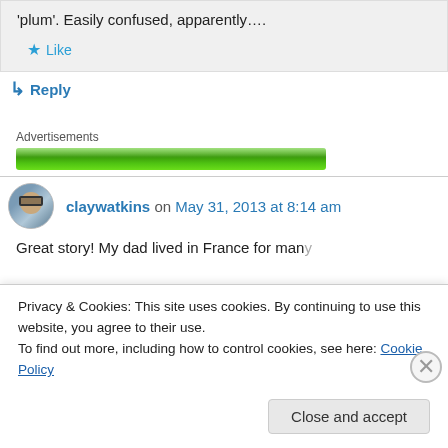'plum'. Easily confused, apparently….
★ Like
↳ Reply
Advertisements
[Figure (other): Green advertisement banner]
claywatkins on May 31, 2013 at 8:14 am
Great story! My dad lived in France for many...
Privacy & Cookies: This site uses cookies. By continuing to use this website, you agree to their use. To find out more, including how to control cookies, see here: Cookie Policy
Close and accept